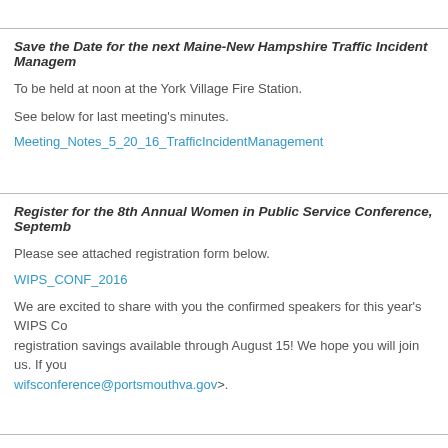Save the Date for the next Maine-New Hampshire Traffic Incident Management
To be held at noon at the York Village Fire Station.
See below for last meeting's minutes.
Meeting_Notes_5_20_16_TrafficIncidentManagement
Register for the 8th Annual Women in Public Service Conference, September
Please see attached registration form below.
WIPS_CONF_2016
We are excited to share with you the confirmed speakers for this year's WIPS Conference. There are early registration savings available through August 15! We hope you will join us. If you have questions, email wifsconference@portsmouthva.gov>.
TIME Task Force Conference – Call for Presentations